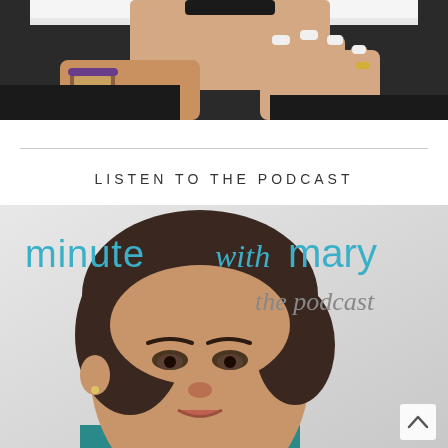[Figure (photo): Close-up photo of a woman's hands holding a smartphone, wearing a watch and rings, dark clothing visible]
LISTEN TO THE PODCAST
[Figure (photo): Podcast cover art for 'minute with mary the podcast' featuring a woman with short dark hair against a light background]